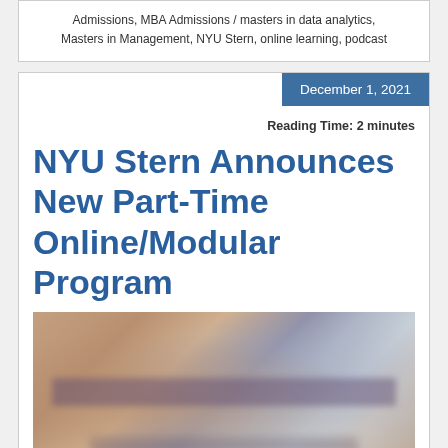Admissions, MBA Admissions / masters in data analytics, Masters in Management, NYU Stern, online learning, podcast
December 1, 2021
Reading Time: 2 minutes
NYU Stern Announces New Part-Time Online/Modular Program
[Figure (photo): Blurred/out-of-focus photograph, likely showing a classroom or office setting with muted warm and cool tones.]